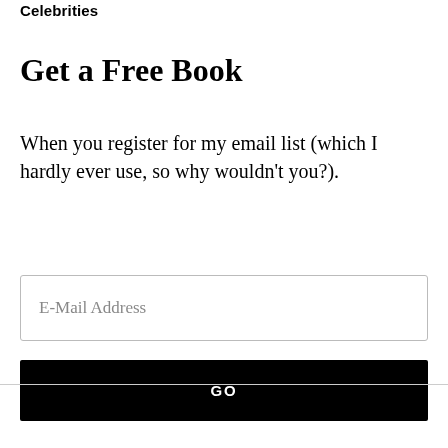Celebrities
Get a Free Book
When you register for my email list (which I hardly ever use, so why wouldn't you?).
E-Mail Address
GO